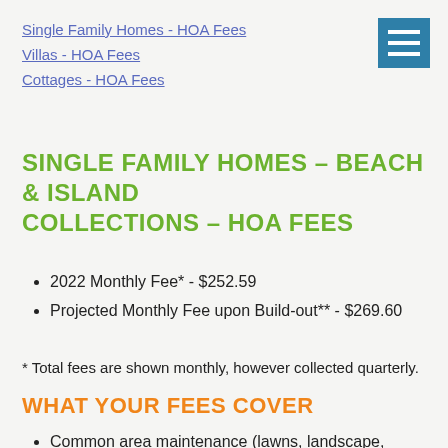Single Family Homes - HOA Fees
Villas - HOA Fees
Cottages - HOA Fees
SINGLE FAMILY HOMES - BEACH & ISLAND COLLECTIONS - HOA FEES
2022 Monthly Fee* - $252.59
Projected Monthly Fee upon Build-out** - $269.60
* Total fees are shown monthly, however collected quarterly.
WHAT YOUR FEES COVER
Common area maintenance (lawns, landscape, trees, irrigation, Association walkways, trails, roads,